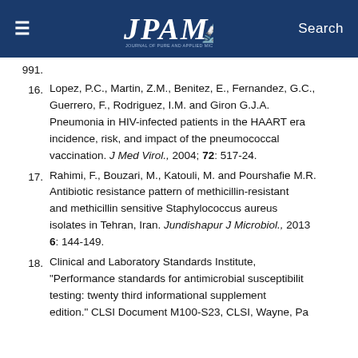JPAM - Journal of Pure and Applied Microbiology
16. Lopez, P.C., Martin, Z.M., Benitez, E., Fernandez, G.C., Guerrero, F., Rodriguez, I.M. and Giron G.J.A. Pneumonia in HIV-infected patients in the HAART era incidence, risk, and impact of the pneumococcal vaccination. J Med Virol., 2004; 72: 517-24.
17. Rahimi, F., Bouzari, M., Katouli, M. and Pourshafie M.R. Antibiotic resistance pattern of methicillin-resistant and methicillin sensitive Staphylococcus aureus isolates in Tehran, Iran. Jundishapur J Microbiol., 2013 6: 144-149.
18. Clinical and Laboratory Standards Institute, "Performance standards for antimicrobial susceptibility testing: twenty third informational supplement edition." CLSI Document M100-S23, CLSI, Wayne, Pa